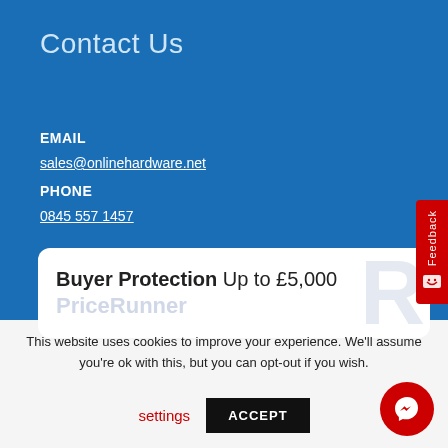Contact Us
EMAIL
sales@onlinehardware.net
PHONE
0845 557 1457
[Figure (logo): Buyer Protection Up to £5,000 PriceRunner badge with large R watermark]
This website uses cookies to improve your experience. We'll assume you're ok with this, but you can opt-out if you wish.
settings
ACCEPT